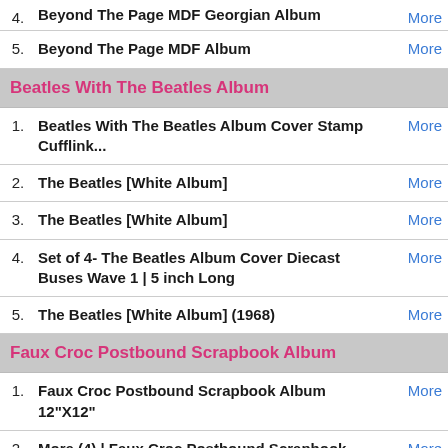4. Beyond The Page MDF Georgian Album — More
5. Beyond The Page MDF Album — More
Beatles With The Beatles Album
1. Beatles With The Beatles Album Cover Stamp Cufflink... — More
2. The Beatles [White Album] — More
3. The Beatles [White Album] — More
4. Set of 4- The Beatles Album Cover Diecast Buses Wave 1 | 5 inch Long — More
5. The Beatles [White Album] (1968) — More
Faux Croc Postbound Scrapbook Album
1. Faux Croc Postbound Scrapbook Album 12"X12" — More
2. More (4) | Faux Croc Postbound Scrapbook Album 12"X12" — More
3. Faux Croc Postbound Scrapbook Album 12"X12"-Black — More
4. Faux Croc Postbound Scrapbook Album 12"X12"-Pink — More
5. Faux Croc Postbound Scrapbook Album 12"X12"-Purple — More